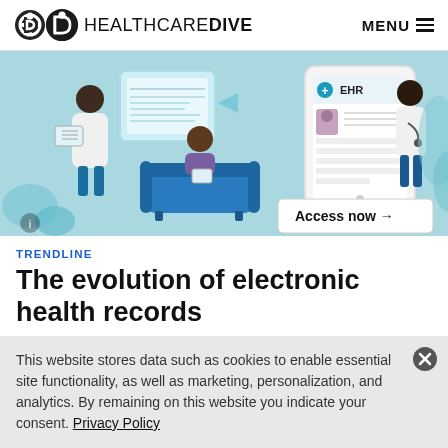HEALTHCAREDIVE   MENU
[Figure (illustration): Healthcare EHR illustration showing a doctor with a tablet, a patient sitting on a couch with a tablet, and an EHR record screen on a digital device. Includes an 'Access now →' button in the lower right.]
TRENDLINE
The evolution of electronic health records
This website stores data such as cookies to enable essential site functionality, as well as marketing, personalization, and analytics. By remaining on this website you indicate your consent. Privacy Policy